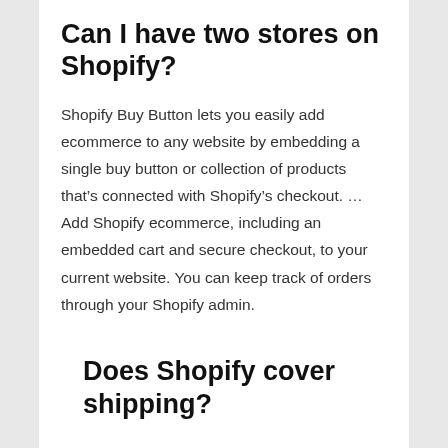Can I have two stores on Shopify?
Shopify Buy Button lets you easily add ecommerce to any website by embedding a single buy button or collection of products that’s connected with Shopify’s checkout. … Add Shopify ecommerce, including an embedded cart and secure checkout, to your current website. You can keep track of orders through your Shopify admin.
Does Shopify cover shipping?